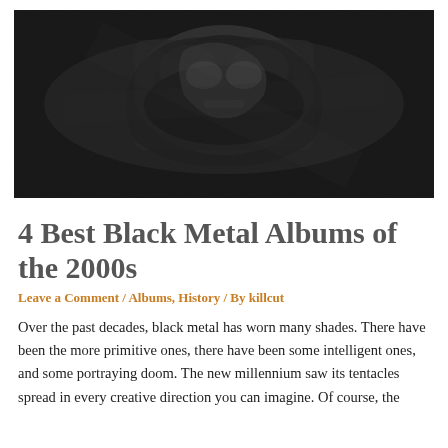[Figure (photo): Black and white grainy photograph showing a dark abstract texture, likely an album cover with embossed or engraved style artwork in shades of black and grey]
4 Best Black Metal Albums of the 2000s
Leave a Comment / Albums, History / By killcut
Over the past decades, black metal has worn many shades. There have been the more primitive ones, there have been some intelligent ones, and some portraying doom. The new millennium saw its tentacles spread in every creative direction you can imagine. Of course, the